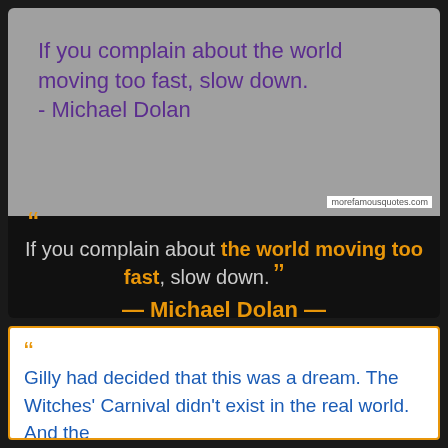[Figure (illustration): Gray background quote card image with purple text: 'If you complain about the world moving too fast, slow down. - Michael Dolan' and watermark 'morefamousquotes.com']
If you complain about the world moving too fast, slow down. — Michael Dolan —
Gilly had decided that this was a dream. The Witches' Carnival didn't exist in the real world. And the